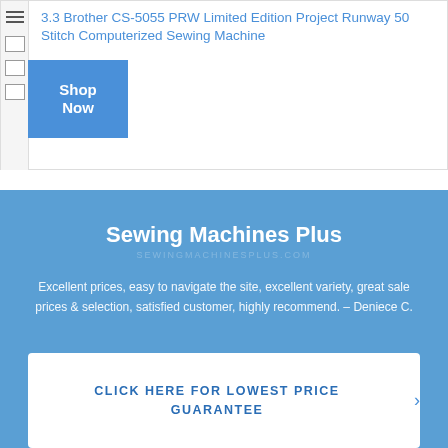3.3 Brother CS-5055 PRW Limited Edition Project Runway 50 Stitch Computerized Sewing Machine
Shop Now
Sewing Machines Plus
Excellent prices, easy to navigate the site, excellent variety, great sale prices & selection, satisfied customer, highly recommend. – Deniece C.
Click Here for Lowest Price Guarantee